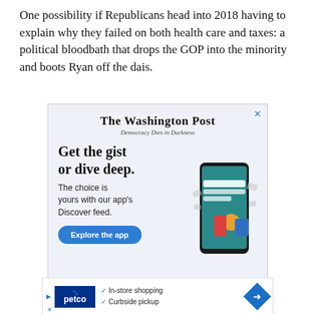One possibility if Republicans head into 2018 having to explain why they failed on both health care and taxes: a political bloodbath that drops the GOP into the minority and boots Ryan off the dais.
[Figure (illustration): Washington Post advertisement with logo, tagline 'Democracy Dies in Darkness', headline 'Get the gist or dive deep.', body text 'The choice is yours with our app's Discover feed.', blue 'Explore the app' button, and a smartphone mockup showing news articles.]
[Figure (illustration): Petco advertisement showing in-store shopping and curbside pickup availability with blue Petco logo and navigation arrow icon.]